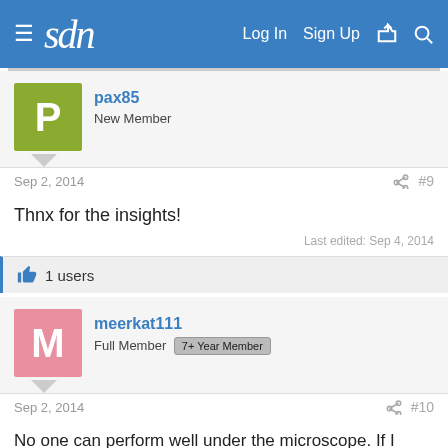sdn | Log In | Sign Up
pax85
New Member
Sep 2, 2014  #9
Thnx for the insights!
Last edited: Sep 4, 2014
1 users
meerkat111
Full Member  7+ Year Member
Sep 2, 2014  #10
No one can perform well under the microscope. If I were u, once your depression is,taken care of, I would find a different